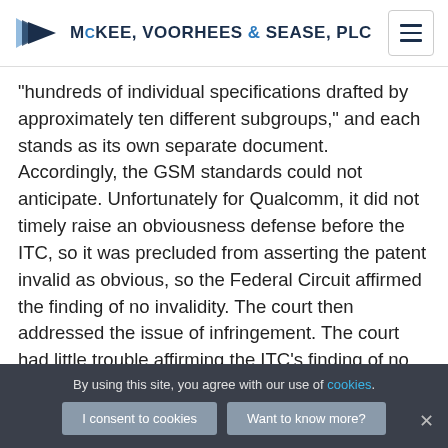McKEE, VOORHEES & SEASE, PLC
"hundreds of individual specifications drafted by approximately ten different subgroups," and each stands as its own separate document. Accordingly, the GSM standards could not anticipate. Unfortunately for Qualcomm, it did not timely raise an obviousness defense before the ITC, so it was precluded from asserting the patent invalid as obvious, so the Federal Circuit affirmed the finding of no invalidity. The court then addressed the issue of infringement. The court had little trouble affirming the ITC's finding of no direct infringement by Qualcomm, as there was no evidence that Qualcomm itself used devices in a low power mode. On the issue of inducing infringement, the
By using this site, you agree with our use of cookies.